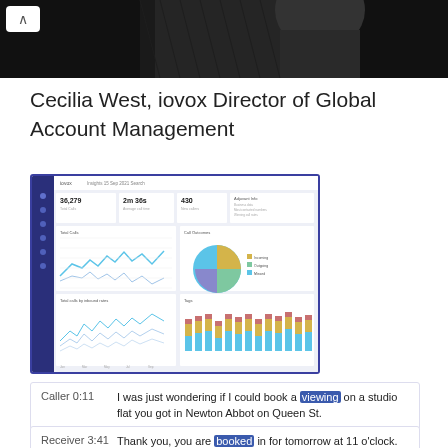[Figure (photo): Black and white close-up photo of a person, partially visible at the top of the page]
Cecilia West, iovox Director of Global Account Management
[Figure (screenshot): Screenshot of the iovox Insights analytics dashboard showing call metrics, line charts, pie chart, and bar charts]
Caller 0:11  I was just wondering if I could book a viewing on a studio flat you got in Newton Abbot on Queen St.
Receiver 3:41  Thank you, you are booked in for tomorrow at 11 o'clock. I'll send you the confirmation details over to